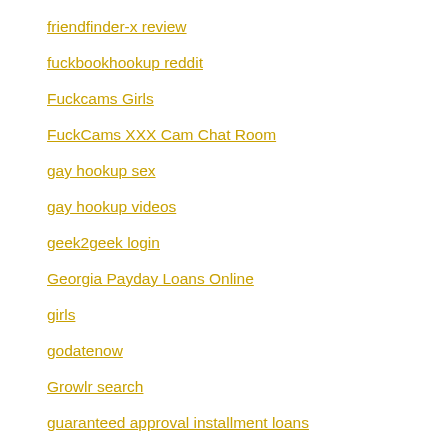Free Sex Cam
friendfinder-x review
fuckbookhookup reddit
Fuckcams Girls
FuckCams XXX Cam Chat Room
gay hookup sex
gay hookup videos
geek2geek login
Georgia Payday Loans Online
girls
godatenow
Growlr search
guaranteed approval installment loans